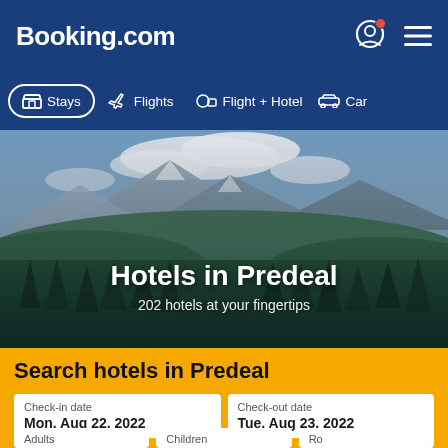Booking.com
Stays  Flights  Flight + Hotel  Car
[Figure (screenshot): Mountain landscape hero image showing forested mountains with clouds, used as background for Hotels in Predeal page]
Hotels in Predeal
202 hotels at your fingertips
Search hotels in Predeal
Check-in date
Mon, Aug 22, 2022
Check-out date
Tue, Aug 23, 2022
Adults  Children  Rooms